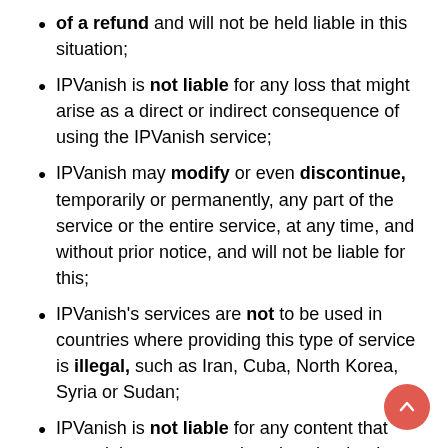of a refund and will not be held liable in this situation;
IPVanish is not liable for any loss that might arise as a direct or indirect consequence of using the IPVanish service;
IPVanish may modify or even discontinue, temporarily or permanently, any part of the service or the entire service, at any time, and without prior notice, and will not be liable for this;
IPVanish's services are not to be used in countries where providing this type of service is illegal, such as Iran, Cuba, North Korea, Syria or Sudan;
IPVanish is not liable for any content that you might access, receive, download or buy while using the service;